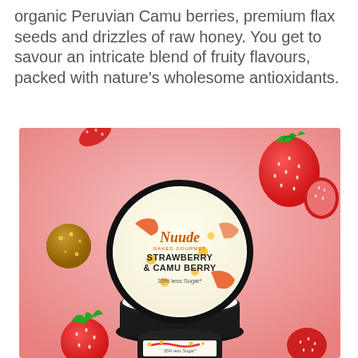organic Peruvian Camu berries, premium flax seeds and drizzles of raw honey. You get to savour an intricate blend of fruity flavours, packed with nature's wholesome antioxidants.
[Figure (photo): Product photo of Nuude Naked Gourmet Strawberry & Camu Berry ice cream tub with lid open, set against a pink background with floating strawberries and a camu berry. The lid label reads 'Nuude NAKED GOURMET, STRAWBERRY & CAMU BERRY, 35% less Sugar*'.]